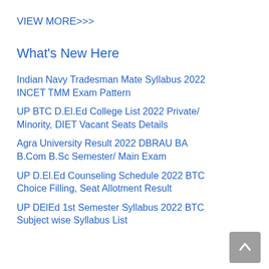VIEW MORE>>>
What's New Here
Indian Navy Tradesman Mate Syllabus 2022 INCET TMM Exam Pattern
UP BTC D.El.Ed College List 2022 Private/ Minority, DIET Vacant Seats Details
Agra University Result 2022 DBRAU BA B.Com B.Sc Semester/ Main Exam
UP D.El.Ed Counseling Schedule 2022 BTC Choice Filling, Seat Allotment Result
UP DElEd 1st Semester Syllabus 2022 BTC Subject wise Syllabus List